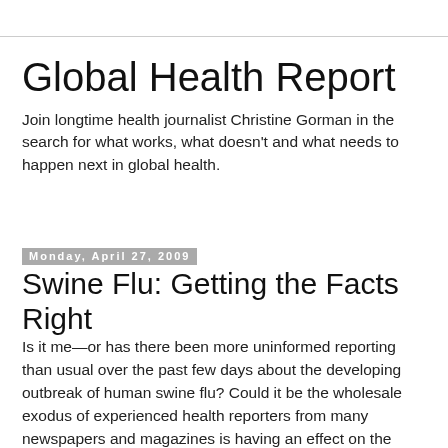Global Health Report
Join longtime health journalist Christine Gorman in the search for what works, what doesn't and what needs to happen next in global health.
Monday, April 27, 2009
Swine Flu: Getting the Facts Right
Is it me—or has there been more uninformed reporting than usual over the past few days about the developing outbreak of human swine flu? Could it be the wholesale exodus of experienced health reporters from many newspapers and magazines is having an effect on the quality of coverage? Flu is not a topic that general assignment reporters can easily get up to speed on overnight.